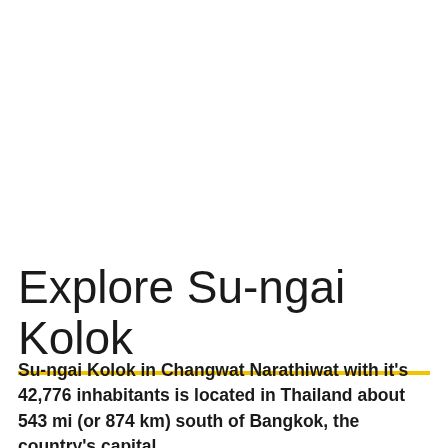Explore Su-ngai Kolok
Su-ngai Kolok in Changwat Narathiwat with it's 42,776 inhabitants is located in Thailand about 543 mi (or 874 km) south of Bangkok, the country's capital.